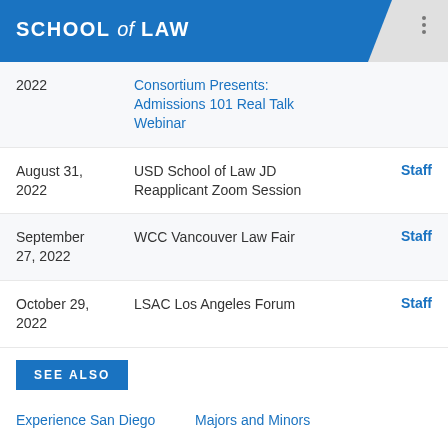SCHOOL of LAW
| Date | Event | Author |
| --- | --- | --- |
| 2022 | Consortium Presents: Admissions 101 Real Talk Webinar |  |
| August 31, 2022 | USD School of Law JD Reapplicant Zoom Session | Staff |
| September 27, 2022 | WCC Vancouver Law Fair | Staff |
| October 29, 2022 | LSAC Los Angeles Forum | Staff |
SEE ALSO
Experience San Diego
Majors and Minors